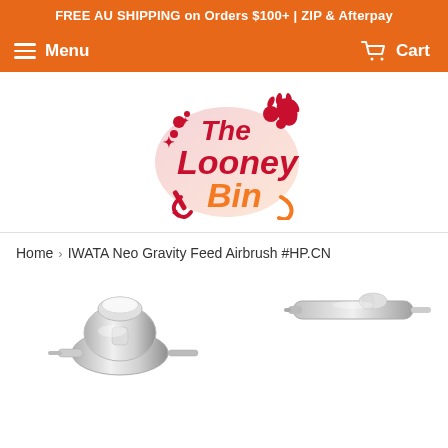FREE AU SHIPPING on Orders $100+ | ZIP & Afterpay
Menu   Cart
[Figure (logo): The Looney Bin store logo — red-to-orange gradient stylized text with paint splash graphic]
Home › IWATA Neo Gravity Feed Airbrush #HP.CN
[Figure (photo): IWATA Neo Gravity Feed Airbrush product photo — chrome airbrush shown from front/side angle, large main image]
[Figure (photo): IWATA Neo Gravity Feed Airbrush thumbnail — smaller secondary product photo]